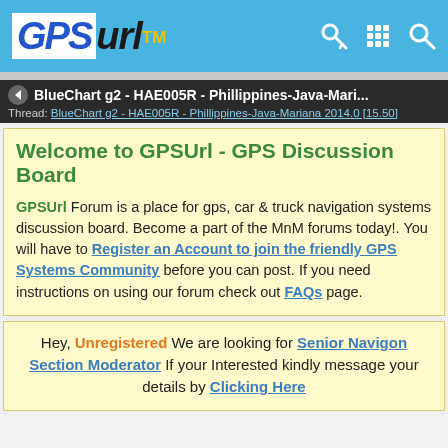GPSurl™ — GPS forum website header
BlueChart g2 - HAE005R - Phillippines-Java-Mari... Thread: BlueChart g2 - HAE005R - Phillippines-Java-Mariana 2014.0 [15.50]
Welcome to GPSUrl - GPS Discussion Board
GPSUrl Forum is a place for gps, car & truck navigation systems discussion board. Become a part of the MnM forums today!. You will have to Register an Account to join the friendly GPS Systems Community before you can post. If you need instructions on using our forum check out FAQs page.
Hey, Unregistered We are looking for Senior Navigon Section Moderator If your Interested kindly message your details by Clicking Here